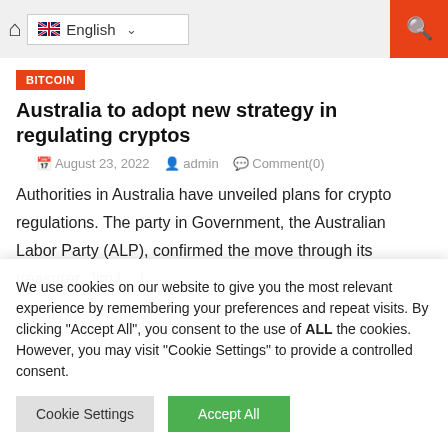English
BITCOIN
Australia to adopt new strategy in regulating cryptos
August 23, 2022  admin  Comment(0)
Authorities in Australia have unveiled plans for crypto regulations. The party in Government, the Australian Labor Party (ALP), confirmed the move through its treasurer, Jim [...]
We use cookies on our website to give you the most relevant experience by remembering your preferences and repeat visits. By clicking "Accept All", you consent to the use of ALL the cookies. However, you may visit "Cookie Settings" to provide a controlled consent.